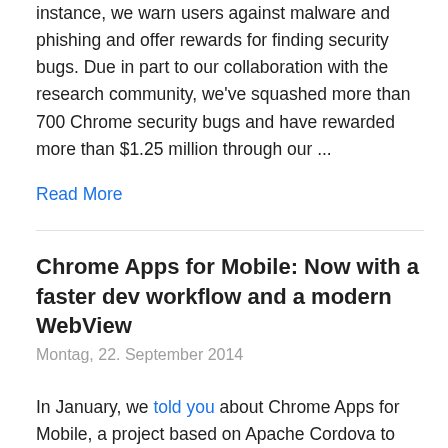instance, we warn users against malware and phishing and offer rewards for finding security bugs. Due in part to our collaboration with the research community, we've squashed more than 700 Chrome security bugs and have rewarded more than $1.25 million through our ...
Read More
Chrome Apps for Mobile: Now with a faster dev workflow and a modern WebView
Montag, 22. September 2014
In January, we told you about Chrome Apps for Mobile, a project based on Apache Cordova to run your Chrome Apps